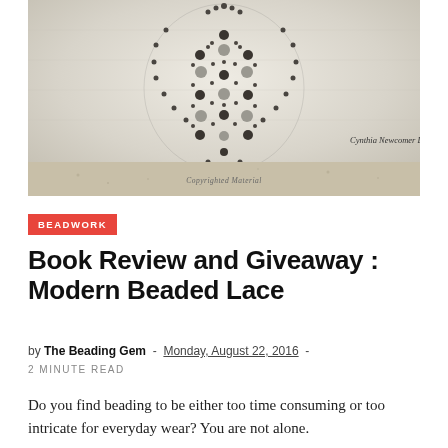[Figure (photo): Close-up photo of an intricate beaded lace jewelry piece made with dark metallic and pearl beads in a lace pattern, on a white fabric background. Photo credit: Cynthia Newcomer Daniel. Watermark: Copyrighted Material.]
BEADWORK
Book Review and Giveaway : Modern Beaded Lace
by The Beading Gem - Monday, August 22, 2016 - 2 MINUTE READ
Do you find beading to be either too time consuming or too intricate for everyday wear? You are not alone.